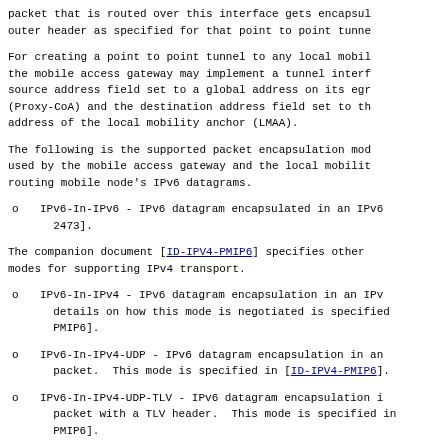packet that is routed over this interface gets encapsulated with an outer header as specified for that point to point tunnel.
For creating a point to point tunnel to any local mobile node, the mobile access gateway may implement a tunnel interface with the source address field set to a global address on its egress interface (Proxy-CoA) and the destination address field set to the global address of the local mobility anchor (LMAA).
The following is the supported packet encapsulation modes used by the mobile access gateway and the local mobility anchor for routing mobile node's IPv6 datagrams.
IPv6-In-IPv6 - IPv6 datagram encapsulated in an IPv6 header [RFC 2473].
The companion document [ID-IPV4-PMIP6] specifies other encapsulation modes for supporting IPv4 transport.
IPv6-In-IPv4 - IPv6 datagram encapsulation in an IPv4 header. The details on how this mode is negotiated is specified in [ID-IPV4-PMIP6].
IPv6-In-IPv4-UDP - IPv6 datagram encapsulation in an IPv4-UDP packet. This mode is specified in [ID-IPV4-PMIP6].
IPv6-In-IPv4-UDP-TLV - IPv6 datagram encapsulation in an IPv4-UDP packet with a TLV header. This mode is specified in [ID-IPV4-PMIP6].